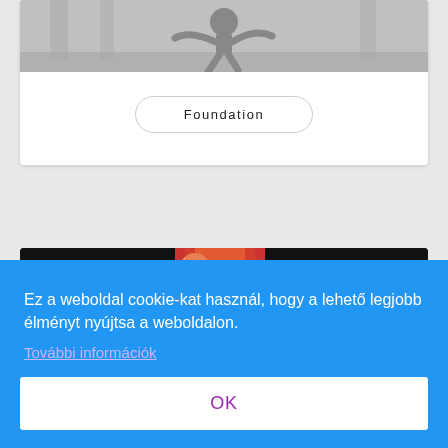[Figure (photo): Grayscale photo of a dancer or person in motion, partially cropped at top]
Foundation
[Figure (photo): Partially visible colorful photo (person with red/orange colors) on dark background]
Ez a weboldal cookie-kat használ, hogy a lehető legjobb élményt nyújtsa a weboldalon.
További információk
OK